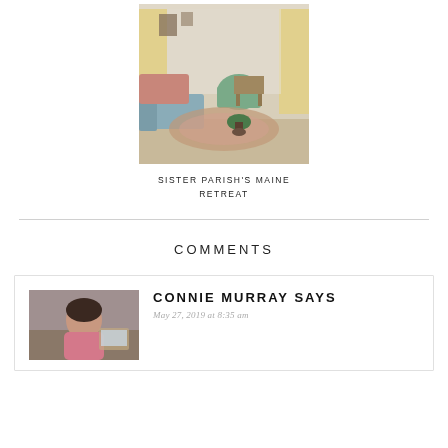[Figure (photo): Interior room photo showing a living room with sofas, patterned rug, green armchair, curtains, and potted plant]
SISTER PARISH'S MAINE RETREAT
COMMENTS
[Figure (photo): Avatar photo of Connie Murray, a woman seated at a desk]
CONNIE MURRAY SAYS
May 27, 2019 at 8:35 am